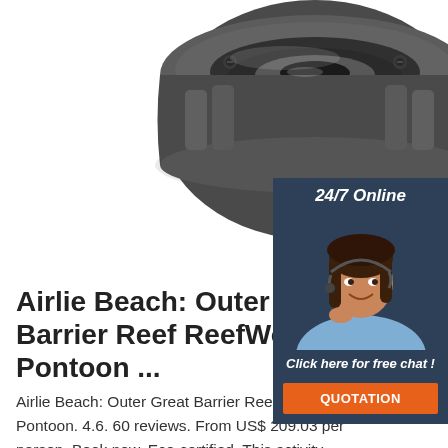[Figure (photo): Close-up photo of a dark metal bearing/coupling mechanical component against white background]
[Figure (infographic): 24/7 Online chat widget with dark blue background, woman with headset, 'Click here for free chat!' text, and orange QUOTATION button]
Airlie Beach: Outer Great Barrier Reef ReefWorld Pontoon ...
Airlie Beach: Outer Great Barrier Reef ReefWorld Pontoon. 4.6. 60 reviews. From US$ 209.03 per person. Book now. Eco-certified. This activity, attraction, or tour operator has been certified eco-friendly by a third-party agency. GetYourGuide works with organizations from all over the world to bring you tours and activities that support ...